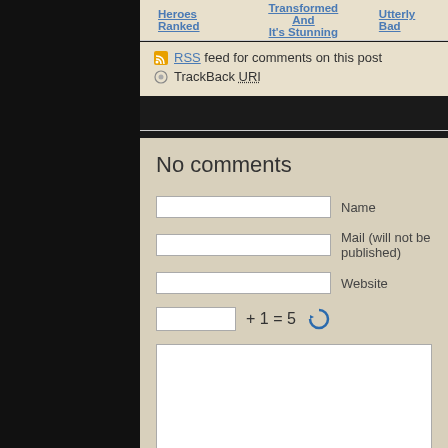Heroes Ranked    Transformed And It's Stunning    Utterly Bad
RSS feed for comments on this post
TrackBack URI
No comments
Name
Mail (will not be published)
Website
Submit Comment